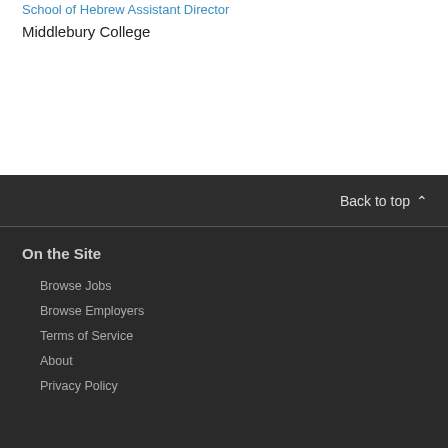School of Hebrew Assistant Director
Middlebury College
Back to top
On the Site
Browse Jobs
Browse Employers
Terms of Service
About
Privacy Policy